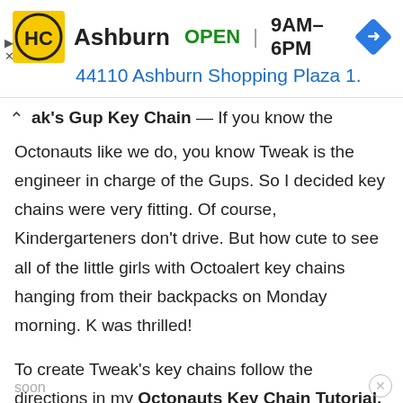[Figure (screenshot): Advertisement banner for HC store in Ashburn showing logo, OPEN status, hours 9AM-6PM, address 44110 Ashburn Shopping Plaza 1., and navigation icon]
ak's Gup Key Chain — If you know the Octonauts like we do, you know Tweak is the engineer in charge of the Gups. So I decided key chains were very fitting. Of course, Kindergarteners don't drive. But how cute to see all of the little girls with Octoalert key chains hanging from their backpacks on Monday morning. K was thrilled!
To create Tweak's key chains follow the directions in my Octonauts Key Chain Tutorial. <– coming soon